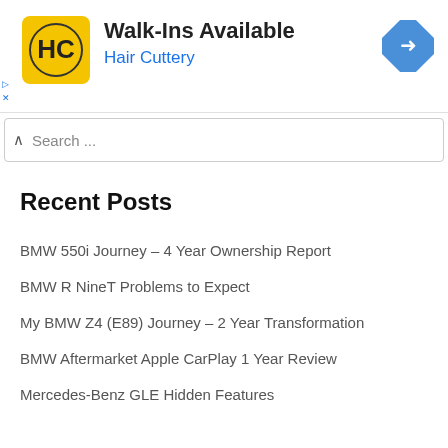[Figure (screenshot): Hair Cuttery advertisement banner with yellow logo, 'Walk-Ins Available' text, and navigation arrow icon]
Search ...
Recent Posts
BMW 550i Journey – 4 Year Ownership Report
BMW R NineT Problems to Expect
My BMW Z4 (E89) Journey – 2 Year Transformation
BMW Aftermarket Apple CarPlay 1 Year Review
Mercedes-Benz GLE Hidden Features
[Figure (screenshot): Air Conditioning Contractors advertisement with photo of person installing air filter, headline text, and body text]